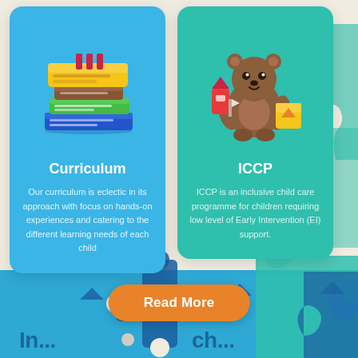[Figure (illustration): Card with blue background showing a stack of colorful books icon, titled 'Curriculum' with descriptive text below]
Curriculum
Our curriculum is eclectic in its approach with focus on hands-on experiences and catering to the different learning needs of each child
[Figure (illustration): Card with teal/green background showing a teddy bear with toy blocks icon, titled 'ICCP' with descriptive text below]
ICCP
ICCP is an inclusive child care programme for children requiring low level of Early Intervention (EI) support.
[Figure (infographic): Orange 'Read More' button with decorative puzzle pieces and geometric shapes in blue/teal on a cream background; blue band at bottom with partial heading text]